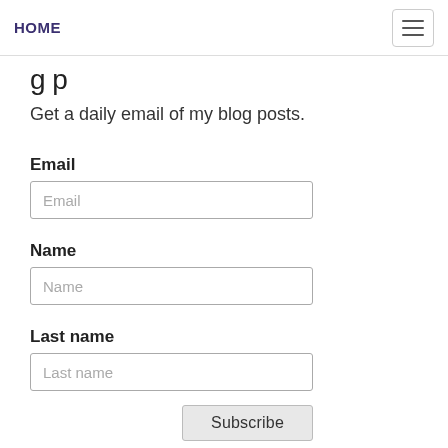HOME
Get a daily email of my blog posts.
Email
Name
Last name
Subscribe
Support Tax Research